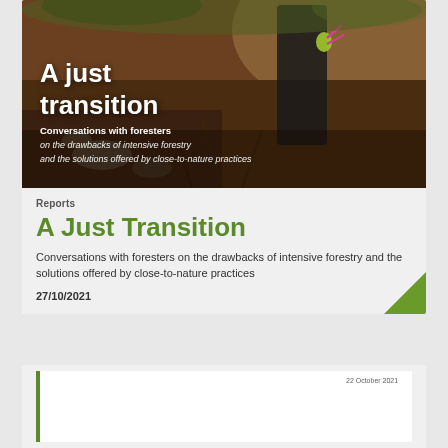[Figure (photo): Cover image of a forester working outdoors with soil/roots visible, text overlay reading 'A just transition - Conversations with foresters on the drawbacks of intensive forestry and the solutions offered by close-to-nature practices']
Reports
A Just Transition
Conversations with foresters on the drawbacks of intensive forestry and the solutions offered by close-to-nature practices
27/10/2021
[Figure (screenshot): Partial view of a document page with a green left border bar and date text '22 October 2021' visible in the top right area]